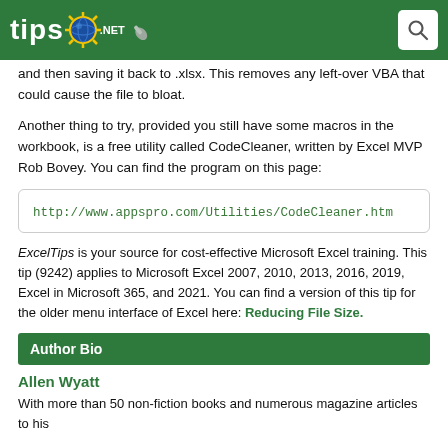tips.net
and then saving it back to .xlsx. This removes any left-over VBA that could cause the file to bloat.
Another thing to try, provided you still have some macros in the workbook, is a free utility called CodeCleaner, written by Excel MVP Rob Bovey. You can find the program on this page:
http://www.appspro.com/Utilities/CodeCleaner.htm
ExcelTips is your source for cost-effective Microsoft Excel training. This tip (9242) applies to Microsoft Excel 2007, 2010, 2013, 2016, 2019, Excel in Microsoft 365, and 2021. You can find a version of this tip for the older menu interface of Excel here: Reducing File Size.
Author Bio
Allen Wyatt
With more than 50 non-fiction books and numerous magazine articles to his